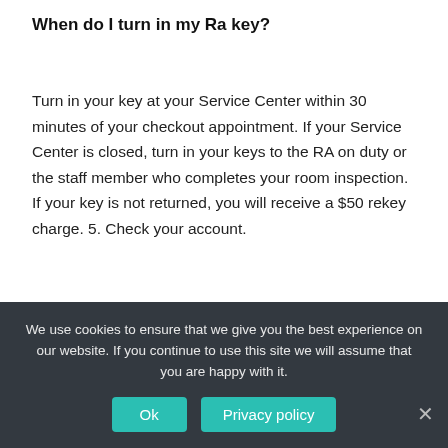When do I turn in my Ra key?
Turn in your key at your Service Center within 30 minutes of your checkout appointment. If your Service Center is closed, turn in your keys to the RA on duty or the staff member who completes your room inspection. If your key is not returned, you will receive a $50 rekey charge. 5. Check your account.
Can a tenant request a walk through inspection?
We use cookies to ensure that we give you the best experience on our website. If you continue to use this site we will assume that you are happy with it.